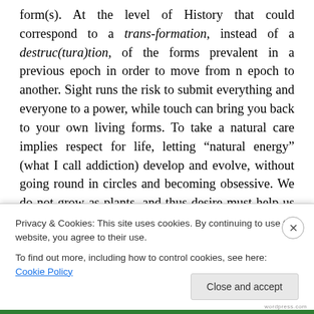form(s). At the level of History that could correspond to a trans-formation, instead of a destruc(tura)tion, of the forms prevalent in a previous epoch in order to move from n epoch to another. Sight runs the risk to submit everything and everyone to a power, while touch can bring you back to your own living forms. To take a natural care implies respect for life, letting “natural energy” (what I call addiction) develop and evolve, without going round in circles and becoming obsessive. We do not grow as plants, and thus desire must help us to continue growing as humans by relating to/with one another – which needs
Privacy & Cookies: This site uses cookies. By continuing to use this website, you agree to their use.
To find out more, including how to control cookies, see here: Cookie Policy
Close and accept